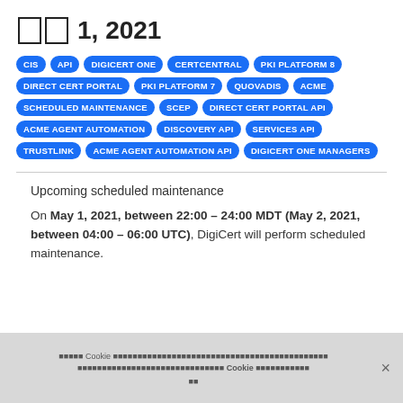□□ 1, 2021
CIS
API
DIGICERT ONE
CERTCENTRAL
PKI PLATFORM 8
DIRECT CERT PORTAL
PKI PLATFORM 7
QUOVADIS
ACME
SCHEDULED MAINTENANCE
SCEP
DIRECT CERT PORTAL API
ACME AGENT AUTOMATION
DISCOVERY API
SERVICES API
TRUSTLINK
ACME AGENT AUTOMATION API
DIGICERT ONE MANAGERS
Upcoming scheduled maintenance
On May 1, 2021, between 22:00 – 24:00 MDT (May 2, 2021, between 04:00 – 06:00 UTC), DigiCert will perform scheduled maintenance.
Cookie notice text and Cookie preferences